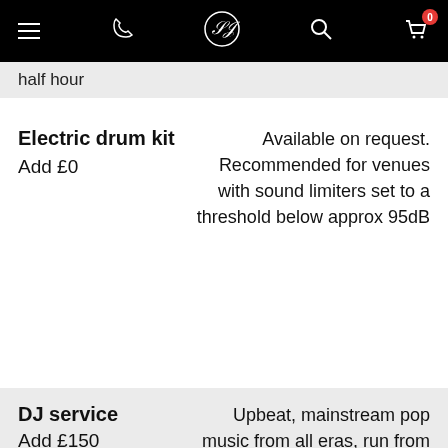Navigation bar with menu, phone, logo, search, and cart (0) icons
half hour
Electric drum kit
Add £0
Available on request. Recommended for venues with sound limiters set to a threshold below approx 95dB
DJ service
Add £150
Upbeat, mainstream pop music from all eras, run from a laptop or device equipped with virtual DJ software. Requests taken and mic available for announcements